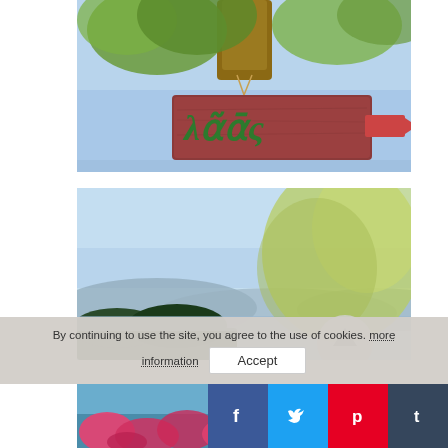[Figure (photo): A wooden sign with Greek text in green letters hanging from a tree branch against a blue sky with green leaves]
[Figure (photo): Landscape photo with blue sky, hills, and blurred green foliage in the foreground]
[Figure (photo): Two small photos at the bottom: left shows flowers/bougainvillea, right shows colorful flowers]
By continuing to use the site, you agree to the use of cookies. more information
Accept